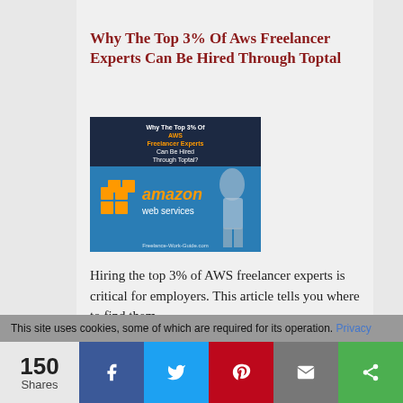Why The Top 3% Of Aws Freelancer Experts Can Be Hired Through Toptal
[Figure (illustration): Amazon Web Services promotional image with AWS logo and text overlay reading 'Why The Top 3% Of AWS Freelancer Experts Can Be Hired Through Toptal?' with woman graphic and Freelance-Work-Guide.com watermark]
Hiring the top 3% of AWS freelancer experts is critical for employers. This article tells you where to find them.
Read More
Visit Freelance Work Guide Blog
This site uses cookies, some of which are required for its operation. Privacy
150 Shares